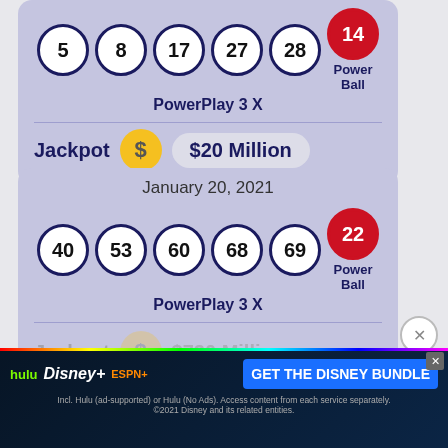[Figure (infographic): Top lottery card (partial): Powerball numbers 5, 8, 17, 27, 28 and Powerball 14, PowerPlay 3X, Jackpot $20 Million]
[Figure (infographic): Second lottery card: January 20, 2021, Powerball numbers 40, 53, 60, 68, 69 and Powerball 22, PowerPlay 3X, Jackpot $730 Million (partially obscured by ad)]
[Figure (infographic): Disney Bundle advertisement banner with Hulu, Disney+, ESPN+ logos and GET THE DISNEY BUNDLE call to action]